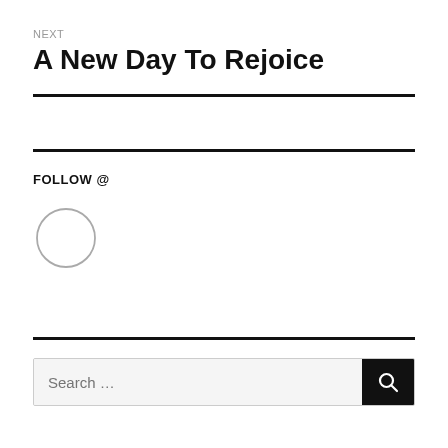NEXT
A New Day To Rejoice
FOLLOW @
[Figure (illustration): Circle icon (empty/placeholder profile image)]